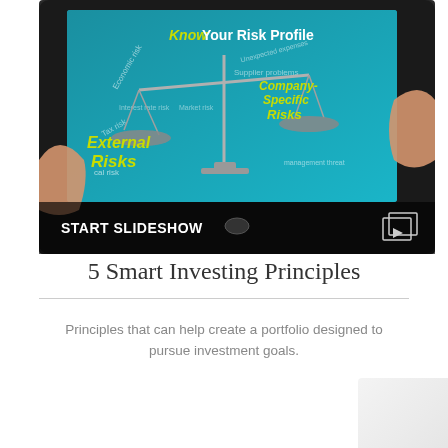[Figure (photo): Hands holding a tablet displaying a slideshow about 'Know Your Risk Profile' with a scales graphic showing External Risks and Company-Specific Risks on a teal background. Below the image is a dark overlay bar with 'START SLIDESHOW' text and a slideshow icon.]
5 Smart Investing Principles
Principles that can help create a portfolio designed to pursue investment goals.